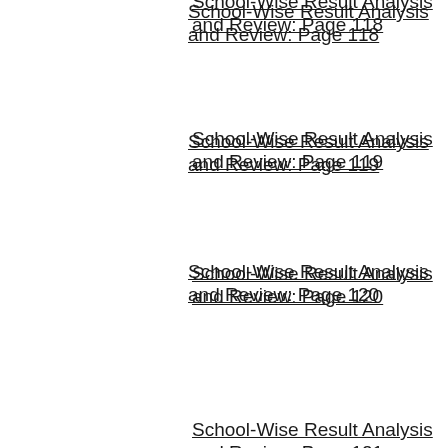School-Wise Result Analysis and Review: Page 118
School-Wise Result Analysis and Review: Page 119
School-Wise Result Analysis and Review: Page 120
School-Wise Result Analysis and Review: Page 121
School-Wise Result Analysis and Review: Page 122
School-Wise Result Analysis and Review: Page 123